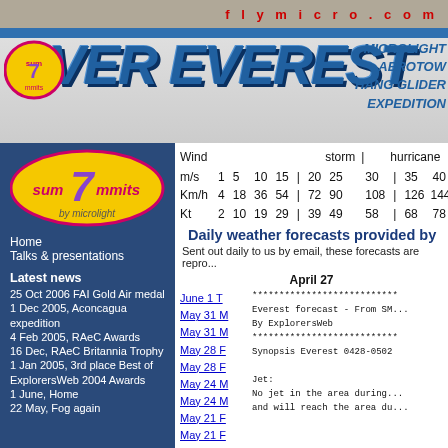flymicro.com
[Figure (logo): Over Everest banner with large blue italic text 'OVER EVEREST' and subtitle 'MICROLIGHT AEROTOW HANG GLIDER EXPEDITION' on right side. 7 Summits by Microlight oval logo on left.]
| Wind |  |  |  | storm |  |  | hurricane |  |  |
| --- | --- | --- | --- | --- | --- | --- | --- | --- | --- |
| m/s | 1 | 5 | 10 | 15 | | | 20 | 25 | 30 | | | 35 | 40 | 45 |
| Km/h | 4 | 18 | 36 | 54 | | | 72 | 90 | 108 | | | 126 | 144 | 162 |
| Kt | 2 | 10 | 19 | 29 | | | 39 | 49 | 58 | | | 68 | 78 | 87 |
Daily weather forecasts provided by
Sent out daily to us by email, these forecasts are repro...
April 27
June 1 T
May 31 M
May 31 M
May 28 F
May 28 F
May 24 M
May 24 M
May 21 F
May 21 F
May 20 T
May 20 T
***************************
Everest forecast - From SM...
By ExplorersWeb
***************************
Synopsis Everest 0428-0502

Jet:
No jet in the area during...
and will reach the area du...
Home
Talks & presentations
Latest news
25 Oct 2006 FAI Gold Air medal
1 Dec 2005, Aconcagua expedition
4 Feb 2005, RAeC Awards
16 Dec, RAeC Britannia Trophy
1 Jan 2005, 3rd place Best of ExplorersWeb 2004 Awards
1 June, Home
22 May, Fog again
22 May, Fog again